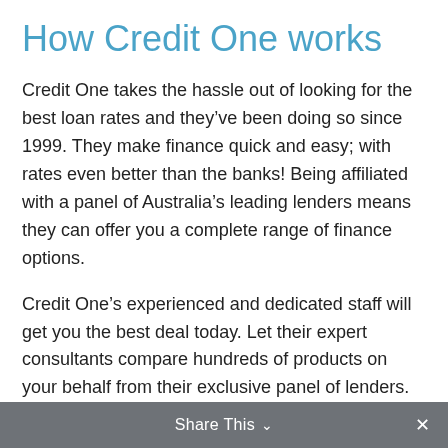How Credit One works
Credit One takes the hassle out of looking for the best loan rates and they’ve been doing so since 1999. They make finance quick and easy; with rates even better than the banks! Being affiliated with a panel of Australia’s leading lenders means they can offer you a complete range of finance options.
Credit One’s experienced and dedicated staff will get you the best deal today. Let their expert consultants compare hundreds of products on your behalf from their exclusive panel of lenders.
Share This ⌃